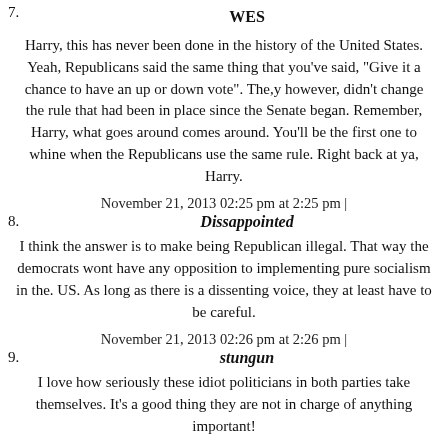7. WES
Harry, this has never been done in the history of the United States. Yeah, Republicans said the same thing that you've said, "Give it a chance to have an up or down vote". The,y however, didn't change the rule that had been in place since the Senate began. Remember, Harry, what goes around comes around. You'll be the first one to whine when the Republicans use the same rule. Right back at ya, Harry.
November 21, 2013 02:25 pm at 2:25 pm |
8. Dissappointed
I think the answer is to make being Republican illegal. That way the democrats wont have any opposition to implementing pure socialism in the. US. As long as there is a dissenting voice, they at least have to be careful.
November 21, 2013 02:26 pm at 2:26 pm |
9. stungun
I love how seriously these idiot politicians in both parties take themselves. It's a good thing they are not in charge of anything important!
November 21, 2013 02:26 pm at 2:26 pm |